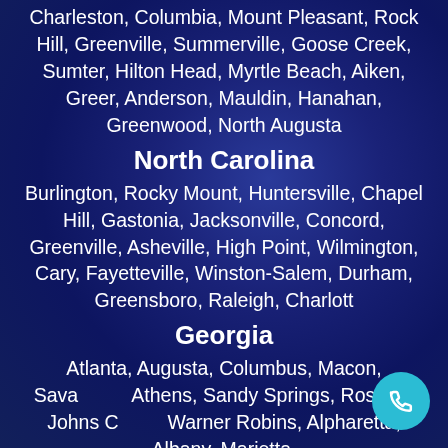Charleston, Columbia, Mount Pleasant, Rock Hill, Greenville, Summerville, Goose Creek, Sumter, Hilton Head, Myrtle Beach, Aiken, Greer, Anderson, Mauldin, Hanahan, Greenwood, North Augusta
North Carolina
Burlington, Rocky Mount, Huntersville, Chapel Hill, Gastonia, Jacksonville, Concord, Greenville, Asheville, High Point, Wilmington, Cary, Fayetteville, Winston-Salem, Durham, Greensboro, Raleigh, Charlott
Georgia
Atlanta, Augusta, Columbus, Macon, Savannah, Athens, Sandy Springs, Roswell, Johns Creek, Warner Robins, Alpharetta, Albany, Marietta,